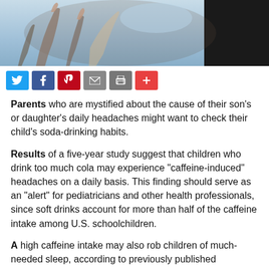[Figure (photo): Photo of people outdoors, arms raised, with a dark-shirted figure on the right, sky background]
[Figure (infographic): Social sharing button bar: Twitter (blue bird), Facebook (f), Pinterest (P), Email (envelope), Print (printer), More (plus)]
Parents who are mystified about the cause of their son's or daughter's daily headaches might want to check their child's soda-drinking habits.
Results of a five-year study suggest that children who drink too much cola may experience "caffeine-induced" headaches on a daily basis. This finding should serve as an "alert" for pediatricians and other health professionals, since soft drinks account for more than half of the caffeine intake among U.S. schoolchildren.
A high caffeine intake may also rob children of much-needed sleep, according to previously published research. Two Ohio researchers found that children with higher intakes of caffeine slept fewer hours, were more